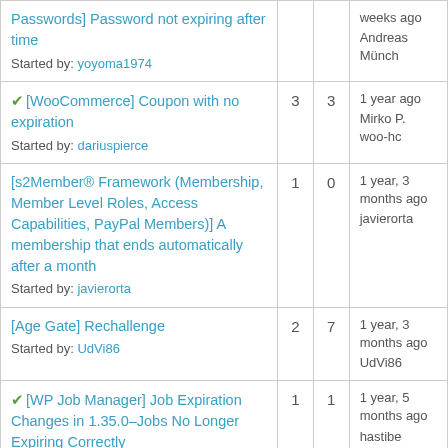| Topic | Replies | Views | Last Post |
| --- | --- | --- | --- |
| [Passwords] Password not expiring after time
Started by: yoyoma1974 |  |  | weeks ago
Andreas Münch |
| ✓ [WooCommerce] Coupon with no expiration
Started by: dariuspierce | 3 | 3 | 1 year ago
Mirko P. woo-hc |
| [s2Member® Framework (Membership, Member Level Roles, Access Capabilities, PayPal Members)] A membership that ends automatically after a month
Started by: javierorta | 1 | 0 | 1 year, 3 months ago
javierorta |
| [Age Gate] Rechallenge
Started by: UdVi86 | 2 | 7 | 1 year, 3 months ago
UdVi86 |
| ✓ [WP Job Manager] Job Expiration Changes in 1.35.0–Jobs No Longer Expiring Correctly | 1 | 1 | 1 year, 5 months ago
hastibe |